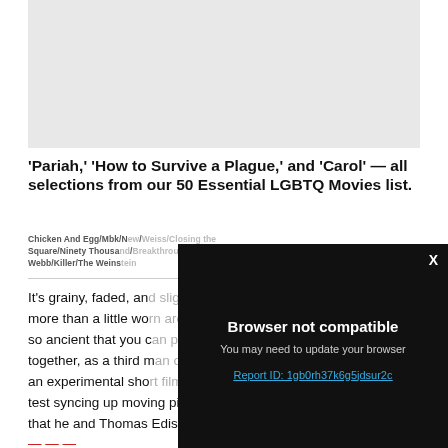[Figure (photo): Gray placeholder image area at top of article page]
'Pariah,' 'How to Survive a Plague,' and 'Carol' — all selections from our 50 Essential LGBTQ Movies list.
Chicken And Egg/Mbk/[...]/Weiss/[...]/Square/Ninety Thousand.../Webb/Killer/The Weins[stein]
It's grainy, faded, an[d] more than a little wo[rn], so ancient that you c[ould] together, as a third m[...] an experimental sho[w to] test syncing up moving pictures to prerecorded sound, a system that he and Thomas Edison were developing known as the
[Figure (screenshot): Dark modal dialog overlay with 'Browser not compatible' heading, subtitle 'You may need to update your browser', link 'Report ID: 1gb0rh37k6g5jdsur2c', and X close button]